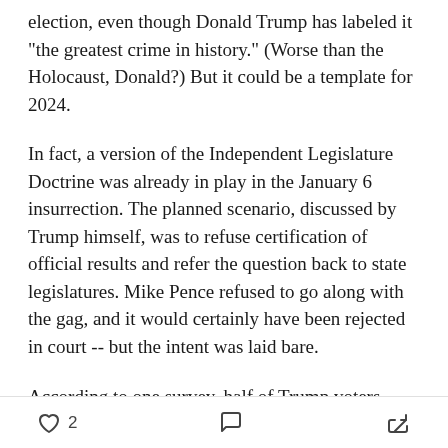election, even though Donald Trump has labeled it "the greatest crime in history." (Worse than the Holocaust, Donald?) But it could be a template for 2024.
In fact, a version of the Independent Legislature Doctrine was already in play in the January 6 insurrection. The planned scenario, discussed by Trump himself, was to refuse certification of official results and refer the question back to state legislatures. Mike Pence refused to go along with the gag, and it would certainly have been rejected in court -- but the intent was laid bare.
According to one survey, half of Trump voters believed that state legislatures should overturn the results in
2